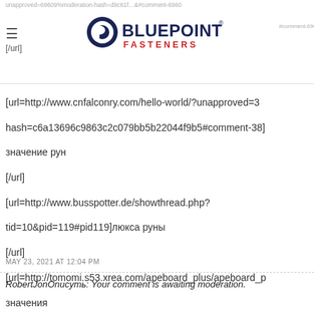Bluepoint Fasteners logo header with navigation and partial URLs
[url=http://www.cnfalconry.com/hello-world/?unapproved=3
hash=c6a13696c9863c2c079bb5b22044f9b5#comment-38]
значение рун
[/url]
[url=http://www.busspotter.de/showthread.php?tid=10&pid=119#pid119]люкса руны
[/url]
[url=http://tomomi.s53.xrea.com/apeboard_plus/apeboard_p
значения
[/url]
[url=http://surinpao.org/webboard/ViewWebboard.php]руна
[/url]
MAY 23, 2021 AT 12:04 PM
RobertJonОписуть: Your comment is awaiting moderation.